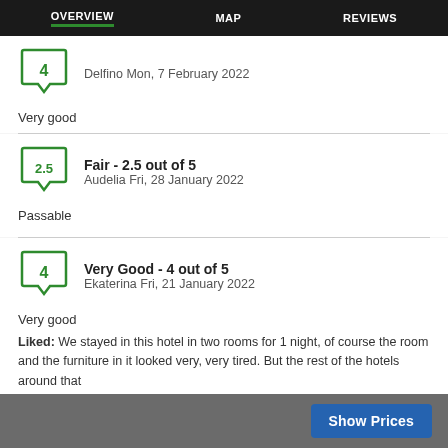OVERVIEW   MAP   REVIEWS
Very good
Fair - 2.5 out of 5
Audelia Fri, 28 January 2022
Passable
Very Good - 4 out of 5
Ekaterina Fri, 21 January 2022
Very good
Liked: We stayed in this hotel in two rooms for 1 night, of course the room and the furniture in it looked very, very tired. But the rest of the hotels around that
Show Prices